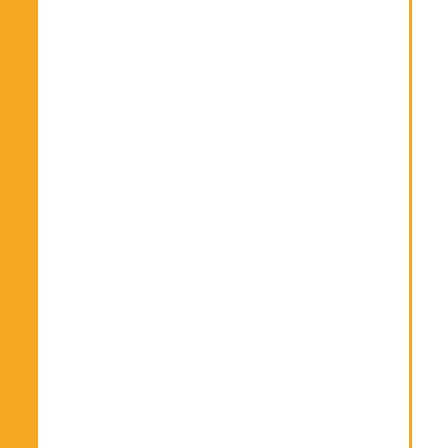along with an electronic key to activate the and only the management had control of t
[Figure (photo): Close-up photograph of a stainless steel bar equipment top surface with valves, levers, and fittings visible, set against a wooden cabinet background]
[Figure (photo): Close-up photograph of bar equipment showing metallic components and fittings at an angle, with blurred background]